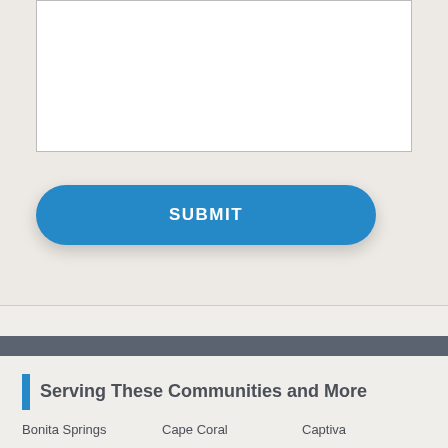[Figure (screenshot): White text input area box (empty textarea field)]
SUBMIT
Serving These Communities and More
Bonita Springs
Cape Coral
Captiva